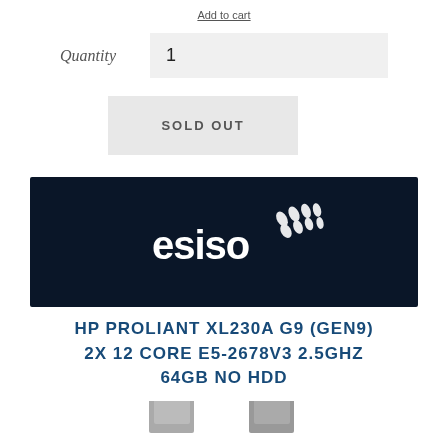Add to cart
Quantity  1
SOLD OUT
[Figure (logo): esiso logo — white text 'esiso' with stylized bird/wing motif on dark navy background]
HP PROLIANT XL230A G9 (GEN9) 2X 12 CORE E5-2678V3 2.5GHZ 64GB NO HDD